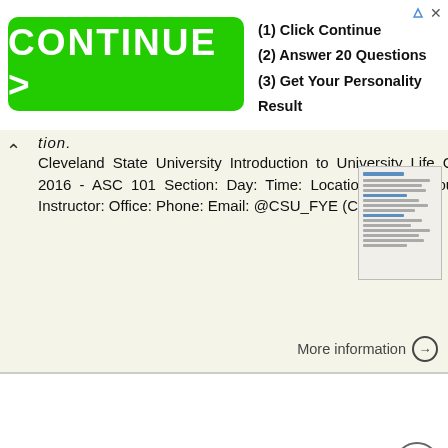[Figure (screenshot): Green CONTINUE > advertisement banner with text: (1) Click Continue, (2) Answer 20 Questions, (3) Get Your Personality Result]
tion.
Cleveland State University Introduction to University Life Course Syllabus Fall 2016 - ASC 101 Section: Day: Time: Location: Office Hours: By Appointment Instructor: Office: Phone: Email: @CSU_FYE (CSU
More information →
SYLLABUS. EC 322 Intermediate Macroeconomics Fall 2012
SYLLABUS EC 322 Intermediate Macroeconomics Fall 2012 Location: Online Instructor: Christopher Westley Office: 112A Merrill Phone: 782-5392 Office hours: Tues and Thur, 12:30-2:30, Thur 4:00-5:00, or by